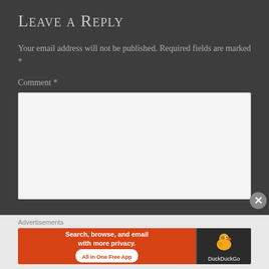Leave a Reply
Your email address will not be published. Required fields are marked *
Comment *
[Figure (other): Empty comment text area input box]
Advertisements
[Figure (other): DuckDuckGo advertisement banner: Search, browse, and email with more privacy. All in One Free App]